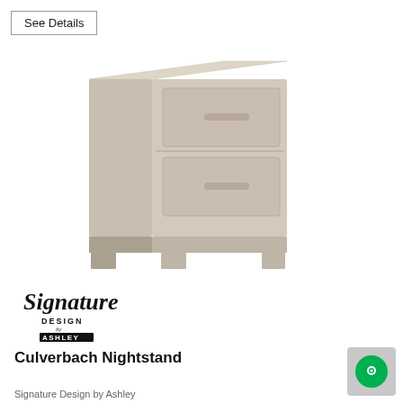See Details
[Figure (photo): A two-drawer nightstand in light gray/beige wood finish with horizontal bar pulls on each drawer and a platform base. Modern minimalist style. Signature Design by Ashley product.]
[Figure (logo): Signature Design by Ashley logo — cursive 'Signature' text above 'DESIGN' and 'ASHLEY' in block letters]
Culverbach Nightstand
Signature Design by Ashley